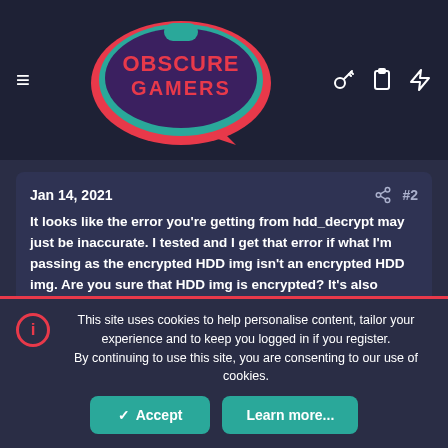[Figure (logo): Obscure Gamers logo with teal speech bubble shape and pink/magenta border, text reads 'OBSCURE GAMERS' in pink on dark background]
Jan 14, 2021
#2
It looks like the error you're getting from hdd_decrypt may just be inaccurate. I tested and I get that error if what I'm passing as the encrypted HDD img isn't an encrypted HDD img. Are you sure that HDD img is encrypted? It's also possible some other error is being hit and you are getting that same fall back error message.
sdobbie
New member  Original poster
This site uses cookies to help personalise content, tailor your experience and to keep you logged in if you register.
By continuing to use this site, you are consenting to our use of cookies.
✓ Accept
Learn more...